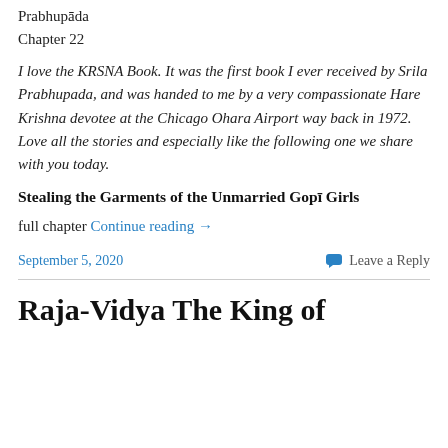Prabhupāda
Chapter 22
I love the KRSNA Book. It was the first book I ever received by Srila Prabhupada, and was handed to me by a very compassionate Hare Krishna devotee at the Chicago Ohara Airport way back in 1972. Love all the stories and especially like the following one we share with you today.
Stealing the Garments of the Unmarried Gopī Girls
full chapter Continue reading →
September 5, 2020
Leave a Reply
Raja-Vidya The King of